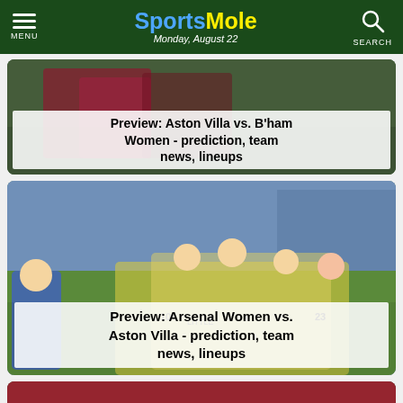SportsMole — Monday, August 22
[Figure (photo): Article card: Aston Villa vs Birmingham Women preview with team photo]
Preview: Aston Villa vs. B'ham Women - prediction, team news, lineups
[Figure (photo): Article card: Arsenal Women celebrating, players in yellow/white kits on pitch]
Preview: Arsenal Women vs. Aston Villa - prediction, team news, lineups
[Figure (photo): Partial third article card at bottom of page]